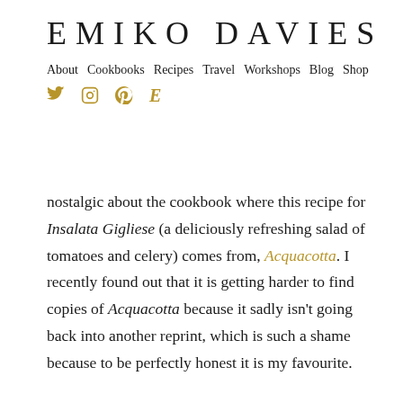EMIKO DAVIES
About  Cookbooks  Recipes  Travel  Workshops  Blog  Shop
nostalgic about the cookbook where this recipe for Insalata Gigliese (a deliciously refreshing salad of tomatoes and celery) comes from, Acquacotta. I recently found out that it is getting harder to find copies of Acquacotta because it sadly isn't going back into another reprint, which is such a shame because to be perfectly honest it is my favourite.
It came out 5 years ago in March 2016 and is a